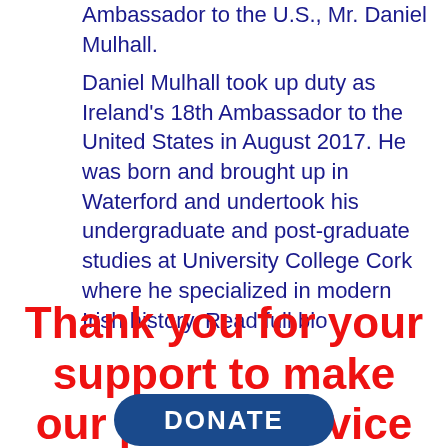Ambassador to the U.S., Mr. Daniel Mulhall.
Daniel Mulhall took up duty as Ireland's 18th Ambassador to the United States in August 2017. He was born and brought up in Waterford and undertook his undergraduate and post-graduate studies at University College Cork where he specialized in modern Irish history. Read full bio
Thank you for your support to make our public service work possible.
DONATE